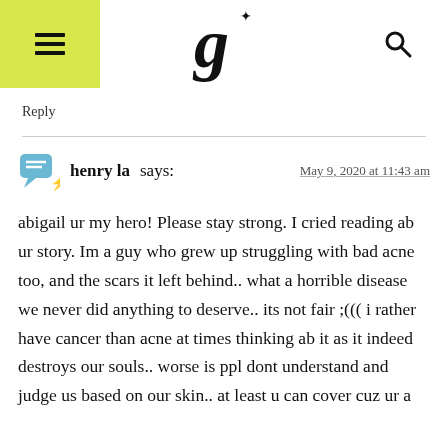Glamour G logo with hamburger menu and search icon
Reply
henry la says: May 9, 2020 at 11:43 am
abigail ur my hero! Please stay strong. I cried reading ab ur story. Im a guy who grew up struggling with bad acne too, and the scars it left behind.. what a horrible disease we never did anything to deserve.. its not fair ;((( i rather have cancer than acne at times thinking ab it as it indeed destroys our souls.. worse is ppl dont understand and judge us based on our skin.. at least u can cover cuz ur a